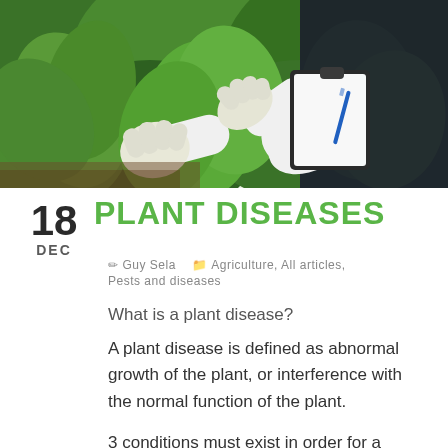[Figure (photo): A researcher wearing white gloves examining green plant leaves outdoors, holding a clipboard with a blue pen]
18 DEC — PLANT DISEASES
✏ Guy Sela  🗂 Agriculture, All articles, Pests and diseases
What is a plant disease?
A plant disease is defined as abnormal growth of the plant, or interference with the normal function of the plant.
3 conditions must exist in order for a disease